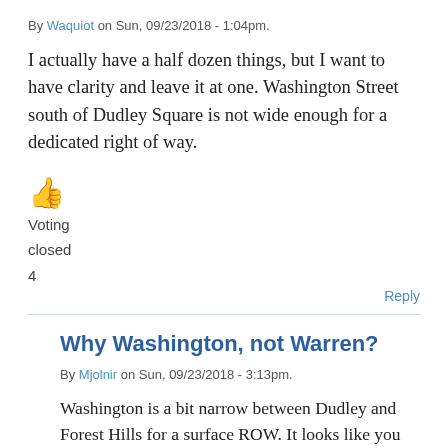By Waquiot on Sun, 09/23/2018 - 1:04pm.
I actually have a half dozen things, but I want to have clarity and leave it at one. Washington Street south of Dudley Square is not wide enough for a dedicated right of way.
[Figure (other): Orange thumbs up emoji]
Voting
closed
4
Reply
Why Washington, not Warren?
By Mjolnir on Sun, 09/23/2018 - 3:13pm.
Washington is a bit narrow between Dudley and Forest Hills for a surface ROW. It looks like you could do a cut & cover tunnel, however? And run